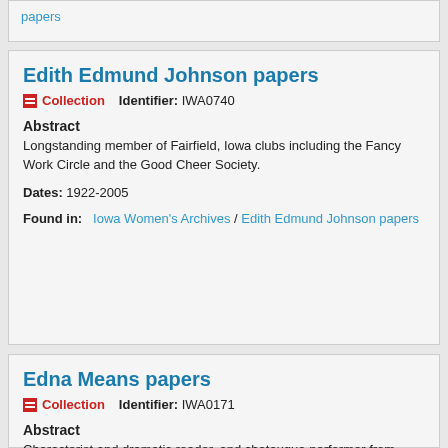papers
Edith Edmund Johnson papers
Collection   Identifier: IWA0740
Abstract
Longstanding member of Fairfield, Iowa clubs including the Fancy Work Circle and the Good Cheer Society.
Dates: 1922-2005
Found in:   Iowa Women's Archives / Edith Edmund Johnson papers
Edna Means papers
Collection   Identifier: IWA0171
Abstract
Characterist and dramatic reader, and chatauqua performer from Tama, Iowa organized her own talent agency.